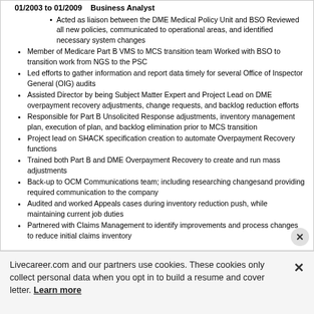01/2003 to 01/2009    Business Analyst
Acted as liaison between the DME Medical Policy Unit and BSO Reviewed all new policies, communicated to operational areas, and identified necessary system changes
Member of Medicare Part B VMS to MCS transition team Worked with BSO to transition work from NGS to the PSC
Led efforts to gather information and report data timely for several Office of Inspector General (OIG) audits
Assisted Director by being Subject Matter Expert and Project Lead on DME overpayment recovery adjustments, change requests, and backlog reduction efforts
Responsible for Part B Unsolicited Response adjustments, inventory management plan, execution of plan, and backlog elimination prior to MCS transition
Project lead on SHACK specification creation to automate Overpayment Recovery functions
Trained both Part B and DME Overpayment Recovery to create and run mass adjustments
Back-up to OCM Communications team; including researching changesand providing required communication to the company
Audited and worked Appeals cases during inventory reduction push, while maintaining current job duties
Partnered with Claims Management to identify improvements and process changes to reduce initial claims inventory
Livecareer.com and our partners use cookies. These cookies only collect personal data when you opt in to build a resume and cover letter. Learn more